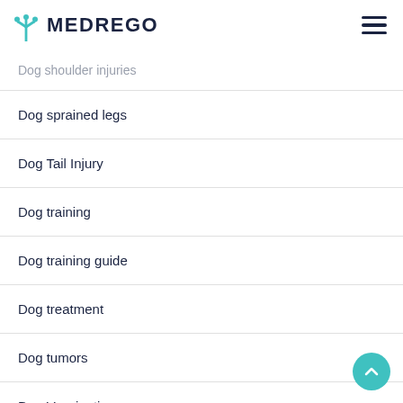MEDREGO
Dog shoulder injuries
Dog sprained legs
Dog Tail Injury
Dog training
Dog training guide
Dog treatment
Dog tumors
Dog Vaccination